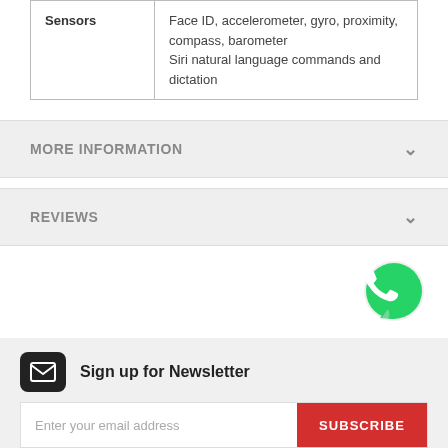| Sensors | Face ID, accelerometer, gyro, proximity, compass, barometer
Siri natural language commands and dictation |
MORE INFORMATION
REVIEWS
[Figure (logo): WhatsApp logo - green circle with white phone handset speech bubble icon]
Sign up for Newsletter
Enter your email address
SUBSCRIBE